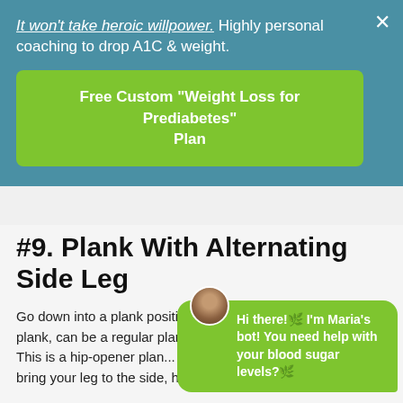It won't take heroic willpower. Highly personal coaching to drop A1C & weight.
Free Custom "Weight Loss for Prediabetes" Plan
#9. Plank With Alternating Side Leg
Go down into a plank position. It can either be an elbow plank, can be a regular plank. Ba... and bring your leg to the... This is a hip-opener plan... and your outer thighs in order to bring your leg to the side, high above the floor.
Hi there!🌿 I'm Maria's bot! You need help with your blood sugar levels?🌿